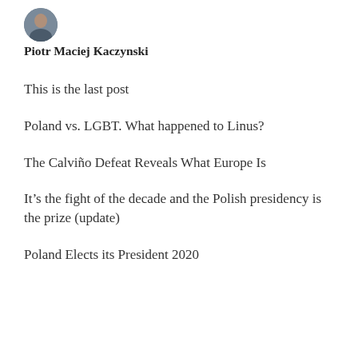[Figure (photo): Small circular avatar photo of Piotr Maciej Kaczynski]
Piotr Maciej Kaczynski
This is the last post
Poland vs. LGBT. What happened to Linus?
The Calviño Defeat Reveals What Europe Is
It’s the fight of the decade and the Polish presidency is the prize (update)
Poland Elects its President 2020